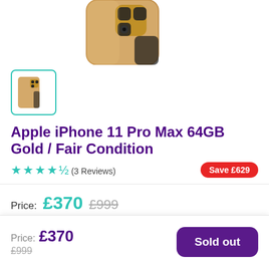[Figure (photo): Partial top view of Apple iPhone 11 Pro Max in Gold color, showing back of device]
[Figure (photo): Thumbnail image of Apple iPhone 11 Pro Max Gold in a teal-bordered selection box]
Apple iPhone 11 Pro Max 64GB Gold / Fair Condition
★★★★½ (3 Reviews)  Save £629
Price: £370  £999
Capacity
Price: £370 £999  Sold out